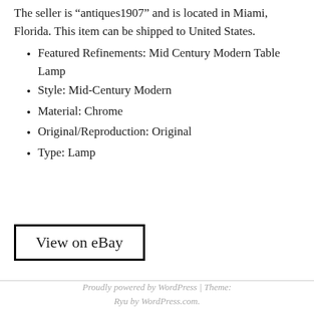The seller is “antiques1907” and is located in Miami, Florida. This item can be shipped to United States.
Featured Refinements: Mid Century Modern Table Lamp
Style: Mid-Century Modern
Material: Chrome
Original/Reproduction: Original
Type: Lamp
View on eBay
Proudly powered by WordPress | Theme: Ryu by WordPress.com.